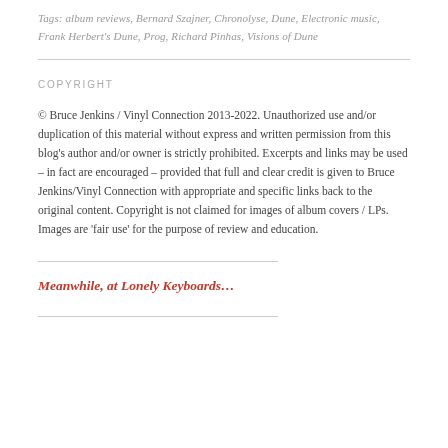Tags: album reviews, Bernard Szajner, Chronolyse, Dune, Electronic music, Frank Herbert's Dune, Prog, Richard Pinhas, Visions of Dune
COPYRIGHT
© Bruce Jenkins / Vinyl Connection 2013-2022. Unauthorized use and/or duplication of this material without express and written permission from this blog's author and/or owner is strictly prohibited. Excerpts and links may be used – in fact are encouraged – provided that full and clear credit is given to Bruce Jenkins/Vinyl Connection with appropriate and specific links back to the original content. Copyright is not claimed for images of album covers / LPs. Images are 'fair use' for the purpose of review and education.
Meanwhile, at Lonely Keyboards…